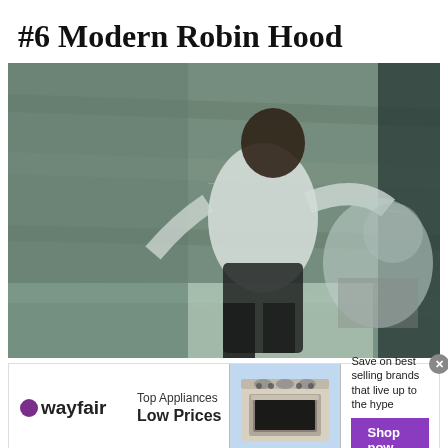#6 Modern Robin Hood
[Figure (photo): Blurry CCTV security camera footage showing a person in a white tank top and dark pants in motion, with another person or object visible to the right side, against a concrete wall background.]
[Figure (infographic): Wayfair advertisement banner: logo on left, 'Top Appliances Low Prices' text in center, appliance image in middle, 'Save on best selling brands that live up to the hype' with purple 'Shop now' button on right. Close button (x) in top right corner.]